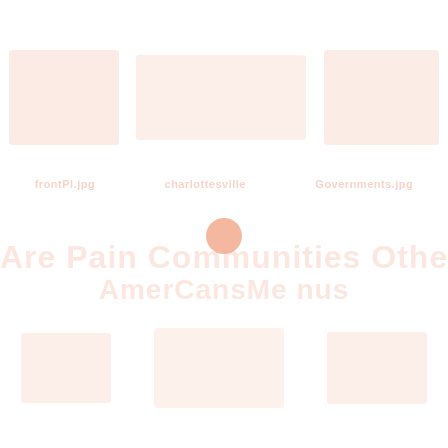[Figure (photo): Faded watermark-style page with three photos of city/building scenes at top, label row with location names, a salmon-colored dot, large title text 'Are Pain Communities Other Americans?', and bottom row of additional faded photos.]
frontPl.jpg   charlottesville   Governments.jpg
Are Pain Communities Other Americans?
AmerCansMe nus